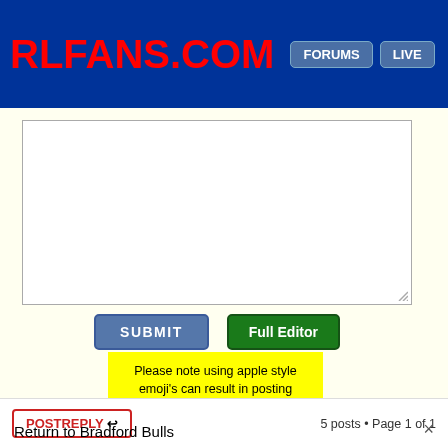RLFANS.COM FORUMS LIVE
[Figure (screenshot): Text input area (textarea) with white background and resize handle]
SUBMIT
Full Editor
Please note using apple style emoji's can result in posting failures.
Use the FULL EDITOR to better format content or upload images, be notified of replies etc...
POST REPLY
5 posts • Page 1 of 1
Return to Bradford Bulls